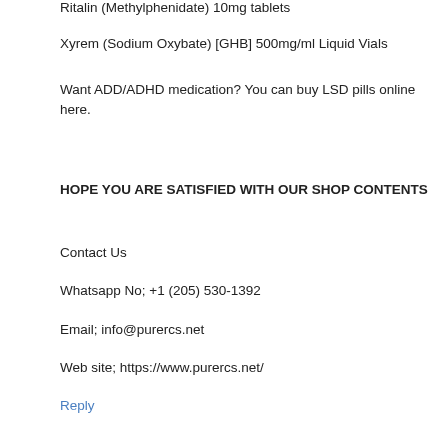Ritalin (Methylphenidate) 10mg tablets
Xyrem (Sodium Oxybate) [GHB] 500mg/ml Liquid Vials
Want ADD/ADHD medication? You can buy LSD pills online here.
HOPE YOU ARE SATISFIED WITH OUR SHOP CONTENTS
Contact Us
Whatsapp No; +1 (205) 530-1392
Email; info@purercs.net
Web site; https://www.purercs.net/
Reply